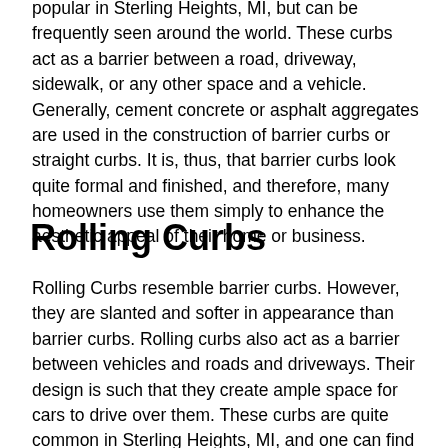popular in Sterling Heights, MI, but can be frequently seen around the world. These curbs act as a barrier between a road, driveway, sidewalk, or any other space and a vehicle. Generally, cement concrete or asphalt aggregates are used in the construction of barrier curbs or straight curbs. It is, thus, that barrier curbs look quite formal and finished, and therefore, many homeowners use them simply to enhance the aesthetic appeal of their home or business.
Rolling Curbs
Rolling Curbs resemble barrier curbs. However, they are slanted and softer in appearance than barrier curbs. Rolling curbs also act as a barrier between vehicles and roads and driveways. Their design is such that they create ample space for cars to drive over them. These curbs are quite common in Sterling Heights, MI, and one can find them almost everywhere.